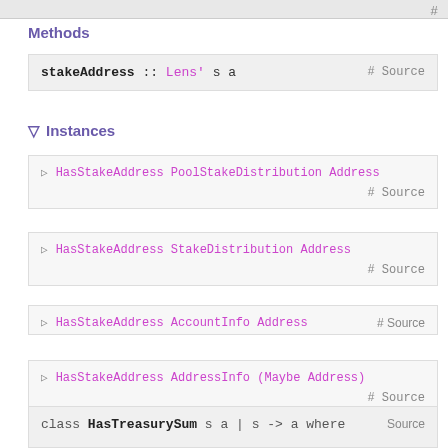Methods
stakeAddress :: Lens' s a   # Source
▽ Instances
▷ HasStakeAddress PoolStakeDistribution Address # Source
▷ HasStakeAddress StakeDistribution Address # Source
▷ HasStakeAddress AccountInfo Address # Source
▷ HasStakeAddress AddressInfo (Maybe Address) # Source
class HasTreasurySum s a | s -> a where   Source